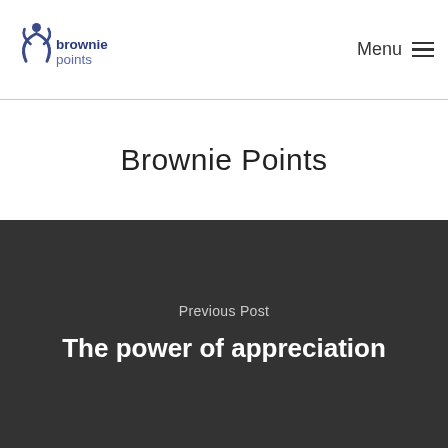[Figure (logo): Brownie Points logo with a stylized figure icon and text 'browniepoints' in blue/navy tones]
Menu ☰
Brownie Points
Previous Post
The power of appreciation